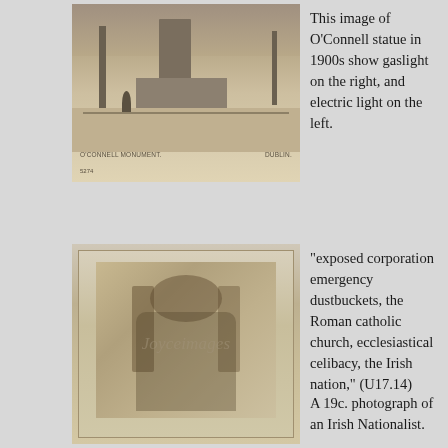[Figure (photo): Sepia postcard photograph of O'Connell Monument in Dublin, 1900s, showing gaslight on the right and electric light on the left. Caption reads 'O'CONNELL MONUMENT. DUBLIN.' and number '5274'.]
This image of O'Connell statue in 1900s show gaslight on the right, and electric light on the left.
[Figure (photo): 19th century portrait photograph of an Irish Nationalist, seated in a chair, bearded man in formal attire. Watermark reads 'Joyceimages'.]
"exposed corporation emergency dustbuckets, the Roman catholic church, ecclesiastical celibacy, the Irish nation," (U17.14)
A 19c. photograph of an Irish Nationalist.